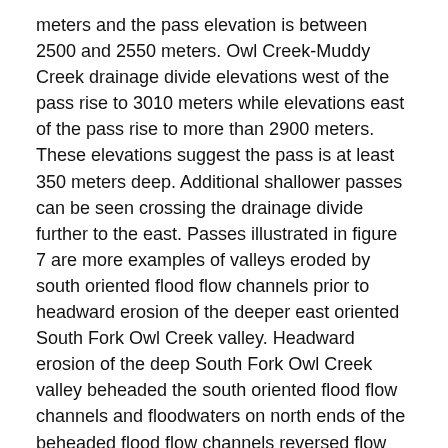meters and the pass elevation is between 2500 and 2550 meters. Owl Creek-Muddy Creek drainage divide elevations west of the pass rise to 3010 meters while elevations east of the pass rise to more than 2900 meters. These elevations suggest the pass is at least 350 meters deep. Additional shallower passes can be seen crossing the drainage divide further to the east. Passes illustrated in figure 7 are more examples of valleys eroded by south oriented flood flow channels prior to headward erosion of the deeper east oriented South Fork Owl Creek valley. Headward erosion of the deep South Fork Owl Creek valley beheaded the south oriented flood flow channels and floodwaters on north ends of the beheaded flood flow channels reversed flow direction to create north oriented South Fork Owl Creek tributary drainage routes.
South Fork Owl Creek-Sagwun Draw drainage divide